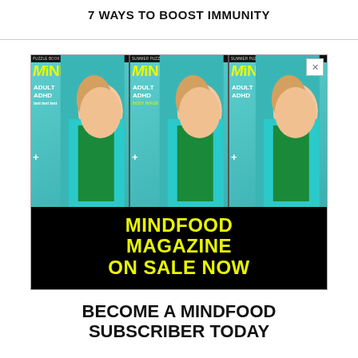7 WAYS TO BOOST IMMUNITY
[Figure (illustration): Advertisement for MiNDFOOD Magazine showing three repeated magazine covers featuring a blonde woman in a teal blazer, with text 'MiNDFOOD MAGAZINE ON SALE NOW' in yellow on black background]
BECOME A MiNDFOOD SUBSCRIBER TODAY